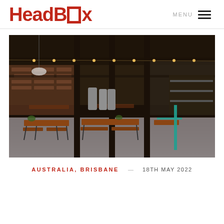HeadBox
[Figure (photo): Interior of a brewery/industrial venue in Brisbane, Australia, showing long wooden tables with bench seating, steel and wood structural columns, string lights, brewery equipment, and exposed brick walls in a warehouse-style space.]
AUSTRALIA, BRISBANE   18TH MAY 2022